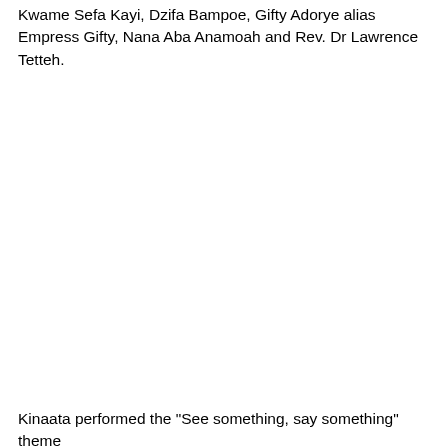Kwame Sefa Kayi, Dzifa Bampoe, Gifty Adorye alias Empress Gifty, Nana Aba Anamoah and Rev. Dr Lawrence Tetteh.
Kinaata performed the "See something, say something" theme